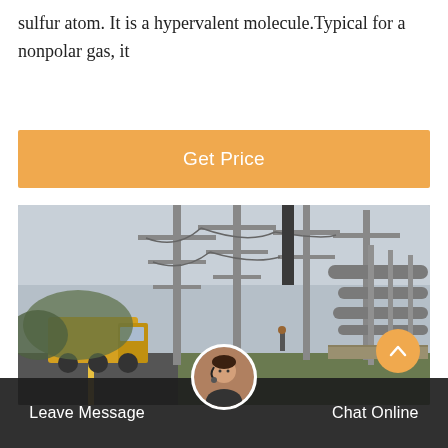sulfur atom. It is a hypervalent molecule.Typical for a nonpolar gas, it
Get Price
[Figure (photo): Outdoor electrical substation with tall steel transmission towers, high-voltage equipment, pipes/conduits, green grass, and a yellow truck on the road in the foreground. Overcast sky.]
Leave Message
Chat Online